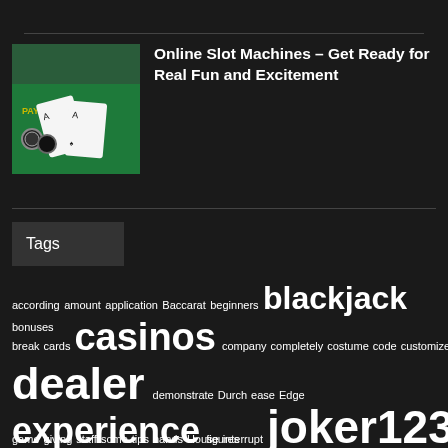[Figure (photo): Thumbnail image of playing cards and casino chips on a green felt table with 'PAYS 2' text visible]
Online Slot Machines – Get Ready for Real Fun and Excitement
Tags
according amount application Baccarat beginners blackjack bonuses break cards casinos company completely costume code customized dealer demonstrate Durch ease Edge experience figures game giving staff some tips hands House interrupt joker123 joker388 live...